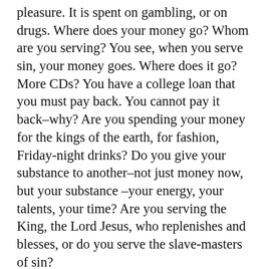pleasure. It is spent on gambling, or on drugs. Where does your money go? Whom are you serving? You see, when you serve sin, your money goes. Where does it go? More CDs? You have a college loan that you must pay back. You cannot pay it back–why? Are you spending your money for the kings of the earth, for fashion, Friday-night drinks? Do you give your substance to another–not just money now, but your substance –your energy, your talents, your time? Are you serving the King, the Lord Jesus, who replenishes and blesses, or do you serve the slave-masters of sin?
It was under this, as they were brought to see these things in their own lives, and it was as they were struggling with the effects of all of these things in their lives that they cry out as repentant people of God: “Let not all the trouble